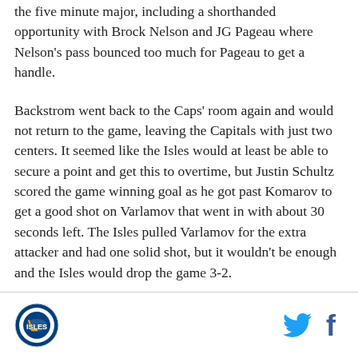the five minute major, including a shorthanded opportunity with Brock Nelson and JG Pageau where Nelson's pass bounced too much for Pageau to get a handle.
Backstrom went back to the Caps' room again and would not return to the game, leaving the Capitals with just two centers. It seemed like the Isles would at least be able to secure a point and get this to overtime, but Justin Schultz scored the game winning goal as he got past Komarov to get a good shot on Varlamov that went in with about 30 seconds left. The Isles pulled Varlamov for the extra attacker and had one solid shot, but it wouldn't be enough and the Isles would drop the game 3-2.
[Figure (logo): Circular sports team logo in bottom left footer area]